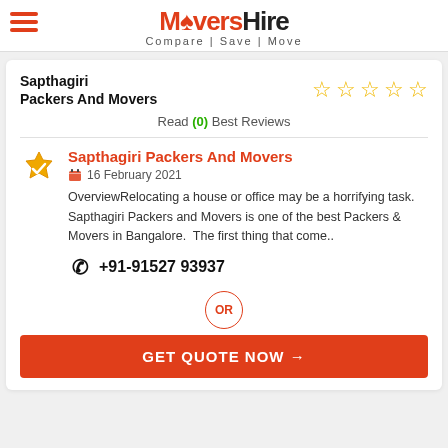MoversHire — Compare | Save | Move
Sapthagiri Packers And Movers
Read (0) Best Reviews
Sapthagiri Packers And Movers
16 February 2021
OverviewRelocating a house or office may be a horrifying task. Sapthagiri Packers and Movers is one of the best Packers & Movers in Bangalore.  The first thing that come..
+91-91527 93937
OR
GET QUOTE NOW →